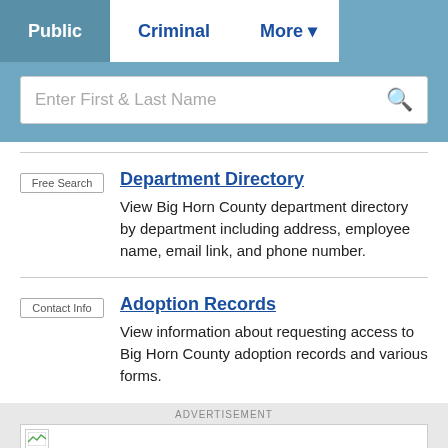Public | Criminal | More
Enter First & Last Name
Department Directory
View Big Horn County department directory by department including address, employee name, email link, and phone number.
Adoption Records
View information about requesting access to Big Horn County adoption records and various forms.
ADVERTISEMENT